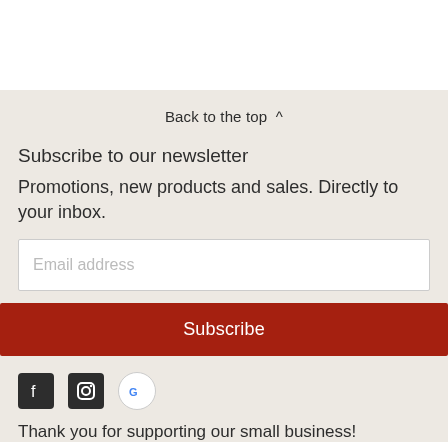Back to the top ^
Subscribe to our newsletter
Promotions, new products and sales. Directly to your inbox.
Email address
Subscribe
[Figure (illustration): Social media icons: Facebook, Instagram, Google]
Thank you for supporting our small business!